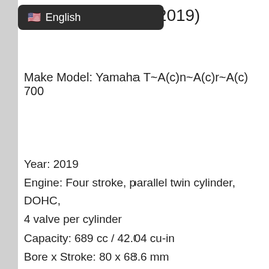(2019)
Make Model: Yamaha T~A(c)n~A(c)r~A(c) 700
Year: 2019
Engine: Four stroke, parallel twin cylinder, DOHC, 4 valve per cylinder
Capacity: 689 cc / 42.04 cu-in
Bore x Stroke: 80 x 68.6 mm
Cooling System: Liquid cooled
Compression Ratio: 11.5:1
Lubrication: Wet sump
Induction: Fuel Injection
Ignition: TCI – Transistor Controlled Ignition
Starting: Electric
Max Power: 73 hp / @ 9000 rpm